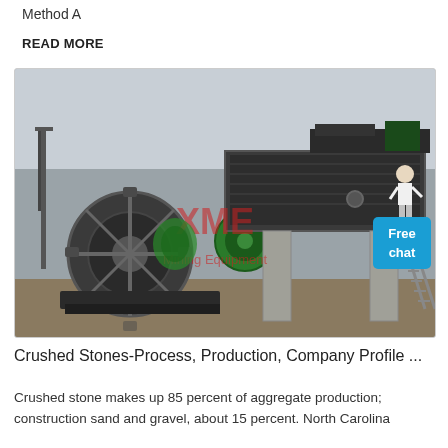Method A
READ MORE
[Figure (photo): Industrial mining/aggregate processing equipment at an outdoor site, featuring a large wheel-type sand washer on the left and a vibrating screen/conveyor structure on the right with metal staircase. An XME Mining Equipment watermark overlays the image. A 'Free chat' button appears in the top-right corner of the image.]
Crushed Stones-Process, Production, Company Profile ...
Crushed stone makes up 85 percent of aggregate production; construction sand and gravel, about 15 percent. North Carolina